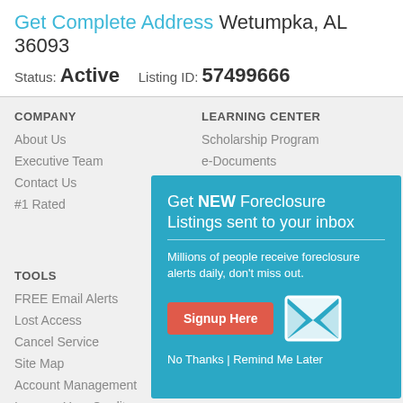Get Complete Address Wetumpka, AL 36093
Status: Active    Listing ID: 57499666
COMPANY
About Us
Executive Team
Contact Us
#1 Rated
LEARNING CENTER
Scholarship Program
e-Documents
FAQs
TOOLS
FREE Email Alerts
Lost Access
Cancel Service
Site Map
Account Management
Improve Your Credit
Mortgage Rates
[Figure (infographic): Popup modal with teal background: 'Get NEW Foreclosure Listings sent to your inbox. Millions of people receive foreclosure alerts daily, don't miss out.' with a red Signup Here button, envelope icon, and 'No Thanks | Remind Me Later' footer link.]